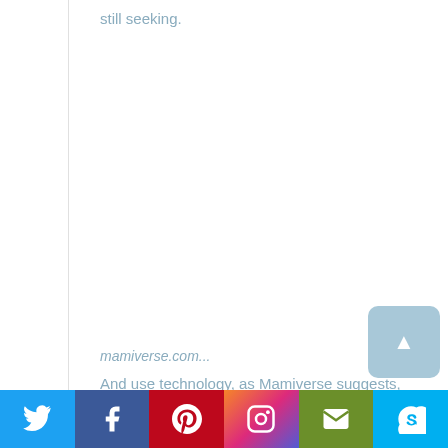still seeking.
mamiverse.com...
And use technology, as Mamiverse suggests,
Twitter | Facebook | Pinterest | Instagram | Email | Skype